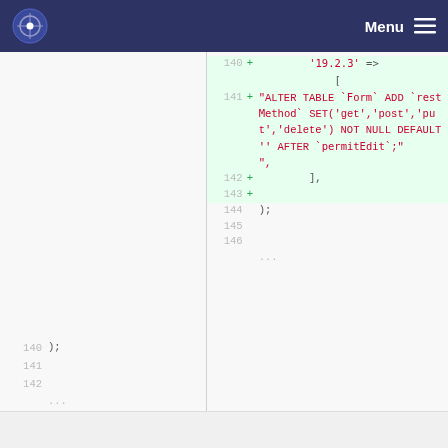Menu
[Figure (screenshot): Code diff view showing two panes. Left pane shows old code lines 140-142 and ... Right pane shows new code lines 140-146 with additions highlighted in green background. The added lines include SQL: ALTER TABLE `Form` ADD `restMethod` SET('get','post','put','delete') NOT NULL DEFAULT '' AFTER `permitEdit`;]